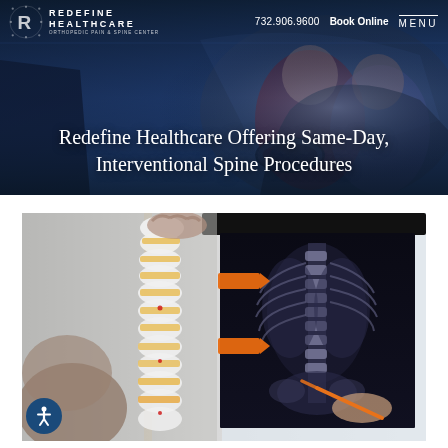732.906.9600  Book Online  MENU
Redefine Healthcare Offering Same-Day, Interventional Spine Procedures
[Figure (photo): Website header showing Redefine Healthcare logo and navigation bar with phone number 732.906.9600, Book Online link, and MENU, overlaid on a dark blue background with a car accident scene in the background showing two people in a car.]
[Figure (photo): Medical professional holding a spine anatomical model next to an X-ray image displayed on a light board, with orange sticky note tabs on the X-ray.]